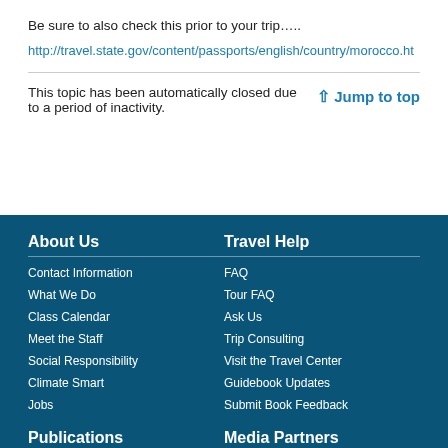Be sure to also check this prior to your trip…..
http://travel.state.gov/content/passports/english/country/morocco.ht
This topic has been automatically closed due to a period of inactivity.
↑ Jump to top
About Us
Contact Information
What We Do
Class Calendar
Meet the Staff
Social Responsibility
Climate Smart
Jobs
Travel Help
FAQ
Tour FAQ
Ask Us
Trip Consulting
Visit the Travel Center
Guidebook Updates
Submit Book Feedback
Publications
Media Partners